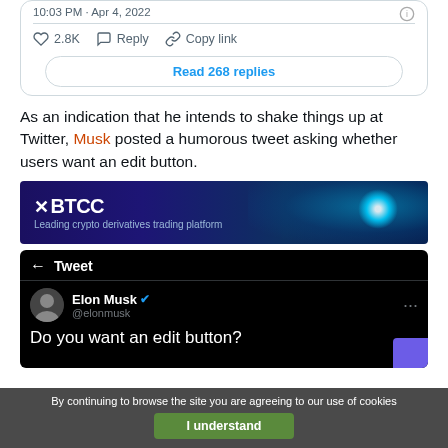[Figure (screenshot): Partial Twitter/X tweet card showing 10:03 PM · Apr 4, 2022, like count 2.8K, Reply, Copy link actions, and Read 268 replies button]
As an indication that he intends to shake things up at Twitter, Musk posted a humorous tweet asking whether users want an edit button.
[Figure (illustration): BTCC advertisement banner: Leading crypto derivatives trading platform]
[Figure (screenshot): Twitter dark-mode screenshot showing Elon Musk tweet: Do you want an edit button? with profile pic, verified badge, @elonmusk handle]
By continuing to browse the site you are agreeing to our use of cookies
I understand